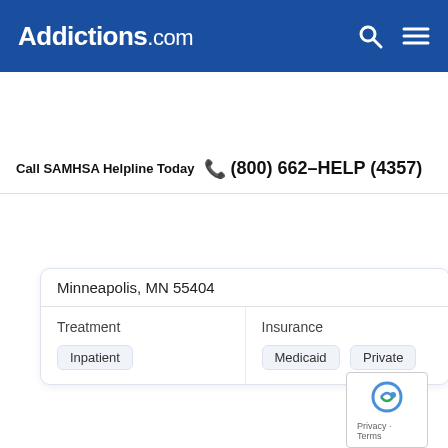Addictions.com
Call SAMHSA Helpline Today  (800) 662-HELP (4357)
Minneapolis, MN 55404
| Treatment | Insurance |
| --- | --- |
| Inpatient | Medicaid  Private |
[Figure (illustration): Icon of a house and a building/office block in dark blue, representing a treatment facility]